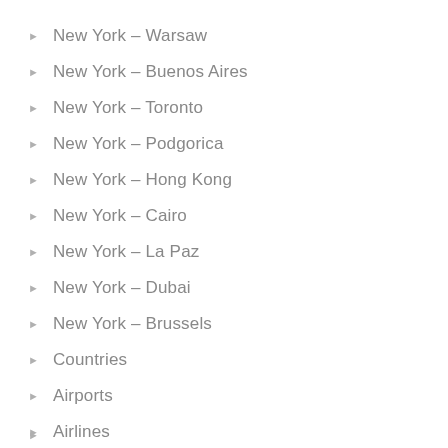New York – Warsaw
New York – Buenos Aires
New York – Toronto
New York – Podgorica
New York – Hong Kong
New York – Cairo
New York – La Paz
New York – Dubai
New York – Brussels
Countries
Airports
Airlines